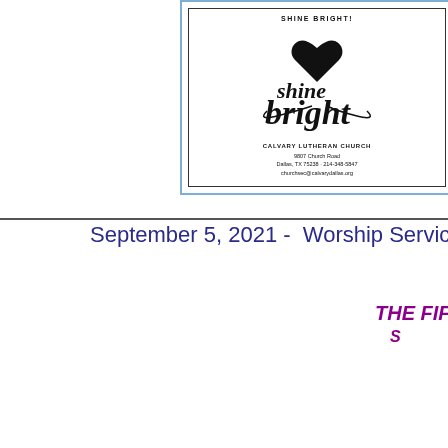[Figure (illustration): Shine Bright church flyer with decorative script lettering, heart symbol, and Calvary Lutheran Church contact info, framed in blue and black borders]
September 5, 2021 -  Worship Service:
[Figure (illustration): The Fifteenth Sunday After Pentecost worship bulletin cover with title, date September 5 2021, Worship Focus: Upside-down Kingdom: Where the Inside Stains, scripture quote, and figure illustration with heart]
THE FIFT S